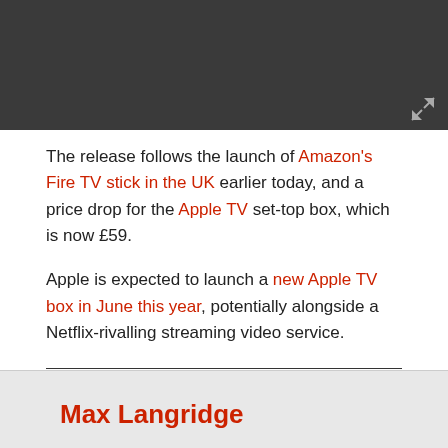[Figure (screenshot): Dark grey header bar with expand/fullscreen icon in lower right corner]
The release follows the launch of Amazon's Fire TV stick in the UK earlier today, and a price drop for the Apple TV set-top box, which is now £59.
Apple is expected to launch a new Apple TV box in June this year, potentially alongside a Netflix-rivalling streaming video service.
MORE: Best streaming video services compared 2015
Max Langridge